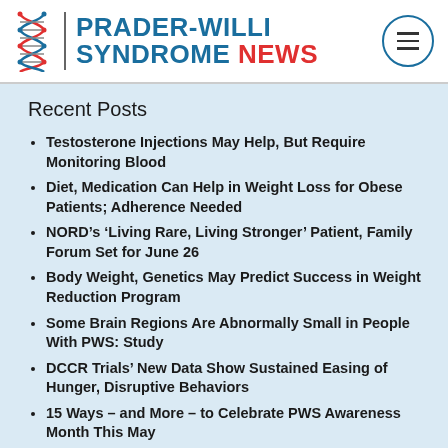[Figure (logo): Prader-Willi Syndrome News website header with DNA helix logo, site title, and hamburger menu icon]
Recent Posts
Testosterone Injections May Help, But Require Monitoring Blood
Diet, Medication Can Help in Weight Loss for Obese Patients; Adherence Needed
NORD’s ‘Living Rare, Living Stronger’ Patient, Family Forum Set for June 26
Body Weight, Genetics May Predict Success in Weight Reduction Program
Some Brain Regions Are Abnormally Small in People With PWS: Study
DCCR Trials’ New Data Show Sustained Easing of Hunger, Disruptive Behaviors
15 Ways – and More – to Celebrate PWS Awareness Month This May